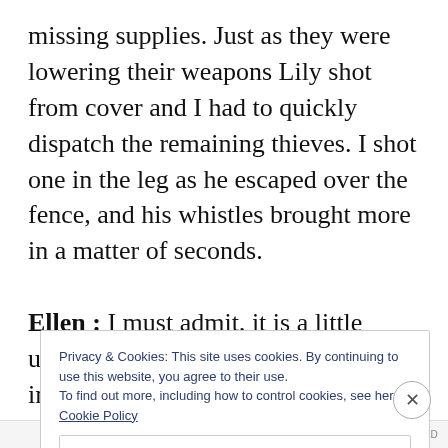missing supplies. Just as they were lowering their weapons Lily shot from cover and I had to quickly dispatch the remaining thieves. I shot one in the leg as he escaped over the fence, and his whistles brought more in a matter of seconds.
Ellen : I must admit, it is a little underwhelming to see ow little impact the details have. If shooting the fleeing bandit limited the number
Privacy & Cookies: This site uses cookies. By continuing to use this website, you agree to their use.
To find out more, including how to control cookies, see here: Cookie Policy
Close and accept